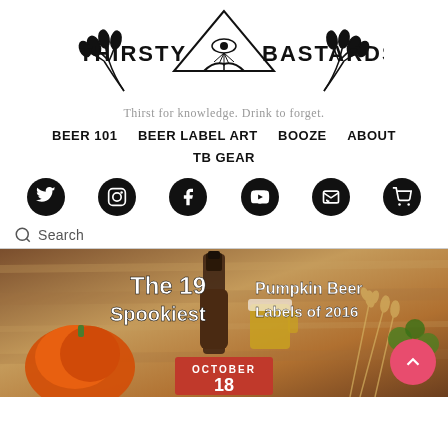[Figure (logo): Thirsty Bastards logo with illuminati eye, open book, wheat stalks, and brand name text]
Thirst for knowledge. Drink to forget.
BEER 101   BEER LABEL ART   BOOZE   ABOUT
TB GEAR
[Figure (infographic): Six social media icon buttons: Twitter, Instagram, Facebook, YouTube, Email, Shopping Cart — all black circles with white icons]
Search
[Figure (photo): Banner image for article: The 19 Spookiest Pumpkin Beer Labels of 2016. Shows a pumpkin, beer bottle, beer mug, and wheat stalks with an October 18 date badge on a warm brown background.]